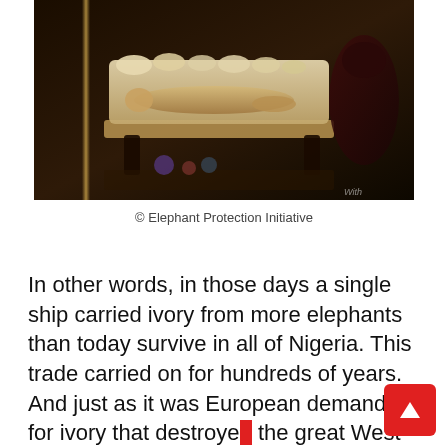[Figure (photo): A dark photograph showing ivory carved figurines and ornaments on display, including a reclining figure and decorative objects on a dark surface.]
© Elephant Protection Initiative
In other words, in those days a single ship carried ivory from more elephants than today survive in all of Nigeria. This trade carried on for hundreds of years. And just as it was European demand for ivory that destroyed the great West African herds, it was European hunters who shot the elephant to